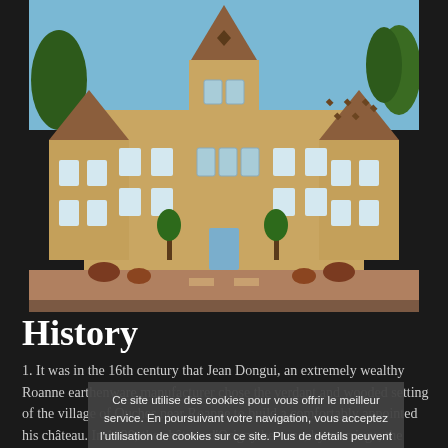[Figure (photo): Photograph of a French château (Château d'Origny) with yellow stone walls, blue shutters, steeply pitched roof with decorative tile patterns, and topiary trees in front on a sunny day with blue sky.]
History
1. It was in the 16th century that Jean Dongui, an extremely wealthy Roanne earthenware manufacturer chose the verdant and wooded setting of the village of Ouches near Roanne to build a comfortably appointed his château. In 1690, the château d'Origny became, by marriage, the property of the Luzy-Couzan family whose coat of arms decorates the eastern facade. Today, the
Ce site utilise des cookies pour vous offrir le meilleur service. En poursuivant votre navigation, vous acceptez l'utilisation de cookies sur ce site. Plus de détails peuvent être trouvés dans la page Utilisation des cookies. ×